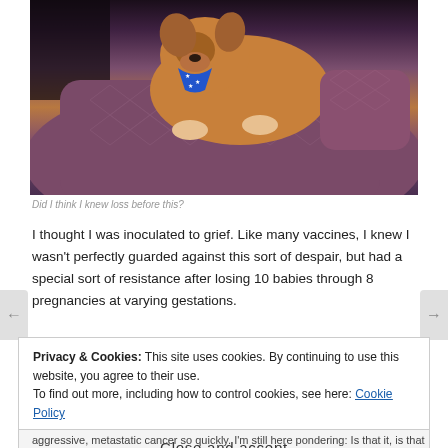[Figure (photo): A dog wearing a blue bandana with white stars, resting on a purple patterned armchair]
Did I think I knew loss before this?
I thought I was inoculated to grief. Like many vaccines, I knew I wasn't perfectly guarded against this sort of despair, but had a special sort of resistance after losing 10 babies through 8 pregnancies at varying gestations.
Privacy & Cookies: This site uses cookies. By continuing to use this website, you agree to their use.
To find out more, including how to control cookies, see here: Cookie Policy
Close and accept
aggressive, metastatic cancer so quickly. I'm still here pondering: Is that it, is that